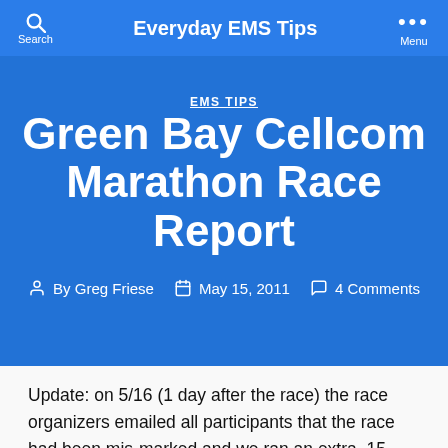Everyday EMS Tips
EMS TIPS
Green Bay Cellcom Marathon Race Report
By Greg Friese   May 15, 2011   4 Comments
Update: on 5/16 (1 day after the race) the race organizers emailed all participants that the race had been mis-marked and we ran an extra .15 miles. See my Part 2 race